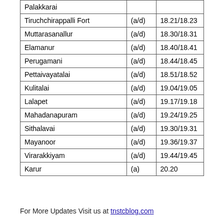| Palakkarai |  |  |
| Tiruchchirappalli Fort | (a/d) | 18.21/18.23 |
| Muttarasanallur | (a/d) | 18.30/18.31 |
| Elamanur | (a/d) | 18.40/18.41 |
| Perugamani | (a/d) | 18.44/18.45 |
| Pettaivayatalai | (a/d) | 18.51/18.52 |
| Kulitalai | (a/d) | 19.04/19.05 |
| Lalapet | (a/d) | 19.17/19.18 |
| Mahadanapuram | (a/d) | 19.24/19.25 |
| Sithalavai | (a/d) | 19.30/19.31 |
| Mayanoor | (a/d) | 19.36/19.37 |
| Virarakkiyam | (a/d) | 19.44/19.45 |
| Karur | (a) | 20.20 |
For More Updates Visit us at tnstcblog.com